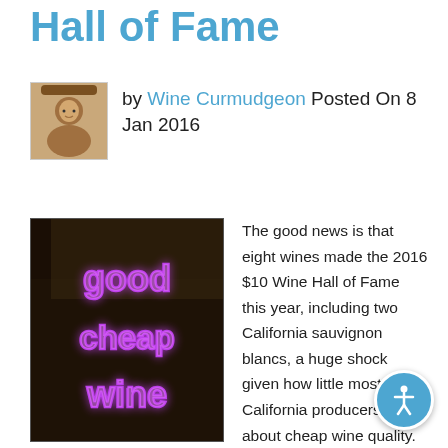Hall of Fame
by Wine Curmudgeon Posted On 8 Jan 2016
[Figure (photo): Avatar/profile photo of the author Wine Curmudgeon]
[Figure (photo): Neon sign reading 'good cheap wine' in purple neon lettering against a dark background with wine bottles visible]
The good news is that eight wines made the 2016 $10 Wine Hall of Fame this year, including two California sauvignon blancs, a huge shock given how little most California producers care about cheap wine quality.